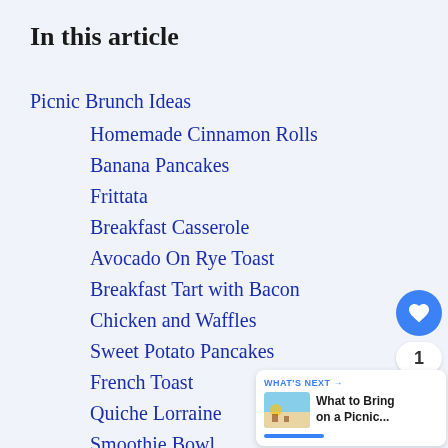In this article
Picnic Brunch Ideas
Homemade Cinnamon Rolls
Banana Pancakes
Frittata
Breakfast Casserole
Avocado On Rye Toast
Breakfast Tart with Bacon
Chicken and Waffles
Sweet Potato Pancakes
French Toast
Quiche Lorraine
Smoothie Bowl